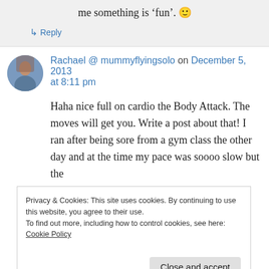me something is 'fun'. 🙂
↳ Reply
Rachael @ mummyflyingsolo on December 5, 2013 at 8:11 pm
Haha nice full on cardio the Body Attack. The moves will get you. Write a post about that! I ran after being sore from a gym class the other day and at the time my pace was soooo slow but the
Privacy & Cookies: This site uses cookies. By continuing to use this website, you agree to their use.
To find out more, including how to control cookies, see here: Cookie Policy
Close and accept
↳ Reply